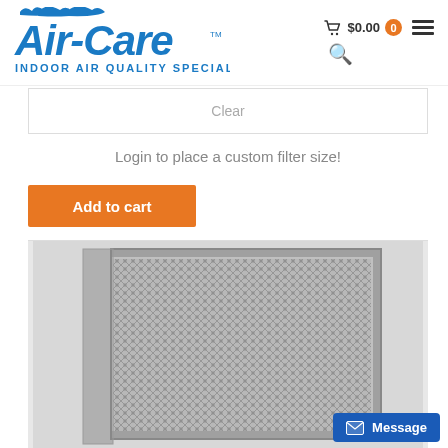[Figure (logo): Air-Care Indoor Air Quality Specialists logo in blue]
$0.00 0
Clear
Login to place a custom filter size!
Add to cart
[Figure (photo): Metal mesh air filter with silver frame, shown at slight angle]
Message